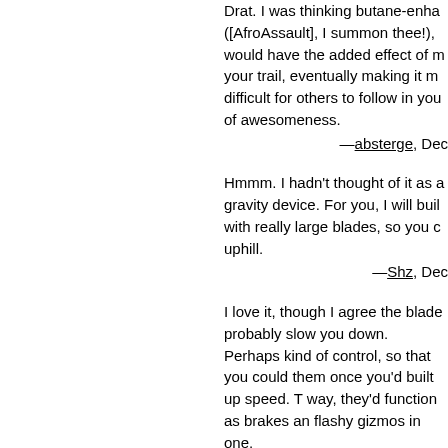Drat. I was thinking butane-enha ([AfroAssault], I summon thee!), would have the added effect of m your trail, eventually making it m difficult for others to follow in you of awesomeness.
—absterge, Dec
Hmmm. I hadn't thought of it as a gravity device. For you, I will buil with really large blades, so you c uphill.
—Shz, Dec
I love it, though I agree the blade probably slow you down. Perhaps kind of control, so that you could them once you'd built up speed. T way, they'd function as brakes an flashy gizmos in one.
—DocBrown, Dec
Of course the blades cause drag isn't about speed-skiing. I like the control idea, though. - Good addi
—Shz, Dec